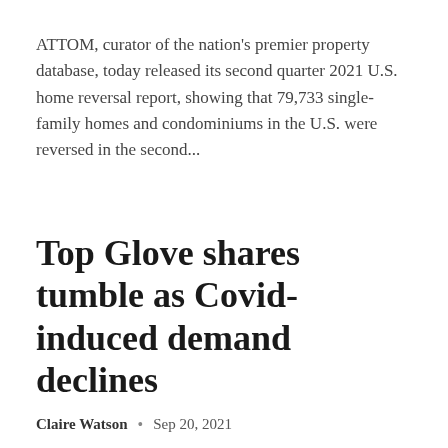ATTOM, curator of the nation's premier property database, today released its second quarter 2021 U.S. home reversal report, showing that 79,733 single-family homes and condominiums in the U.S. were reversed in the second...
Top Glove shares tumble as Covid-induced demand declines
Claire Watson • Sep 20, 2021
Shares of Malaysia's Top Glove, the world's largest manufacturer of